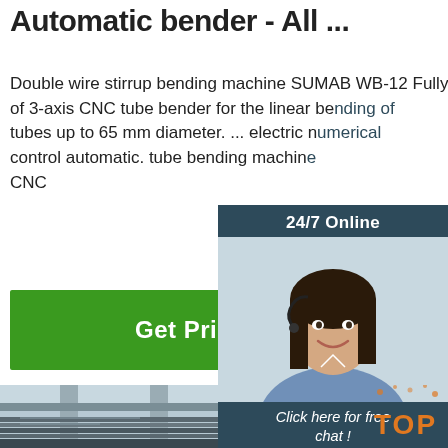Automatic bender - All ...
Double wire stirrup bending machine SUMAB WB-12 Fully automatic, ... present their new series of 3-axis CNC tube bender for the linear bending of tubes up to 65 mm diameter. ... electric numerical control automatic. tube bending machine CNC
Get Price
[Figure (screenshot): Chat widget showing '24/7 Online' header, customer service representative photo, 'Click here for free chat!' text, and an orange QUOTATION button]
[Figure (photo): Stacked steel plates/sheets in an outdoor industrial yard with elevated roadway structures in the background. A 'TOP' badge appears in the lower right corner.]